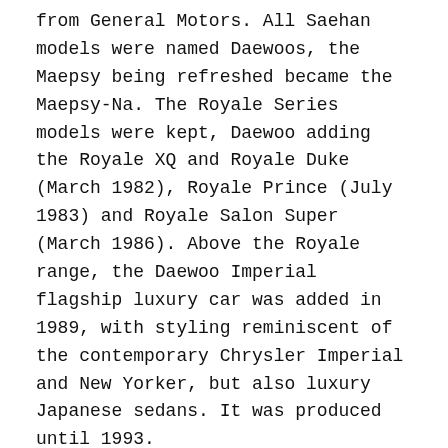from General Motors. All Saehan models were named Daewoos, the Maepsy being refreshed became the Maepsy-Na. The Royale Series models were kept, Daewoo adding the Royale XQ and Royale Duke (March 1982), Royale Prince (July 1983) and Royale Salon Super (March 1986). Above the Royale range, the Daewoo Imperial flagship luxury car was added in 1989, with styling reminiscent of the contemporary Chrysler Imperial and New Yorker, but also luxury Japanese sedans. It was produced until 1993.